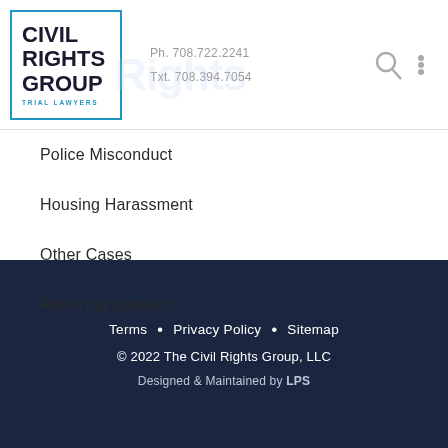[Figure (logo): Civil Rights Group Trial Lawyers logo — blue square outline with bold text: CIVIL RIGHTS GROUP, TRIAL LAWYERS]
Ph. 708.722.2241
Txt. 708.394.7054
Police Misconduct
Housing Harassment
Other Cases
Referring Lawyers
Terms • Privacy Policy • Sitemap
© 2022 The Civil Rights Group, LLC
Designed & Maintained by LPS